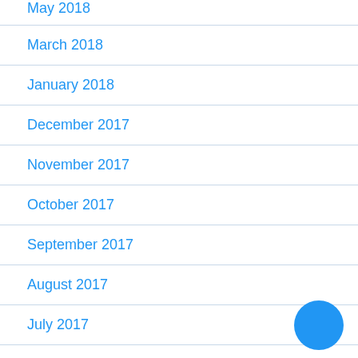May 2018
March 2018
January 2018
December 2017
November 2017
October 2017
September 2017
August 2017
July 2017